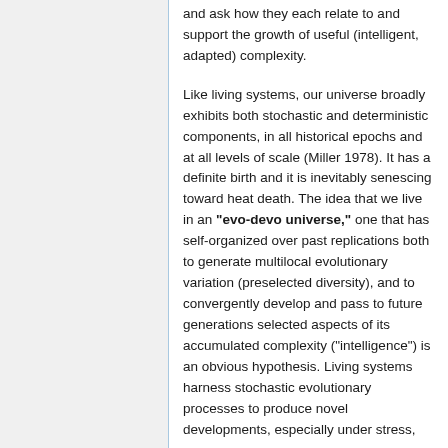and ask how they each relate to and support the growth of useful (intelligent, adapted) complexity.
Like living systems, our universe broadly exhibits both stochastic and deterministic components, in all historical epochs and at all levels of scale (Miller 1978). It has a definite birth and it is inevitably senescing toward heat death. The idea that we live in an "evo-devo universe," one that has self-organized over past replications both to generate multilocal evolutionary variation (preselected diversity), and to convergently develop and pass to future generations selected aspects of its accumulated complexity ("intelligence") is an obvious hypothesis. Living systems harness stochastic evolutionary processes to produce novel developments, especially under stress,